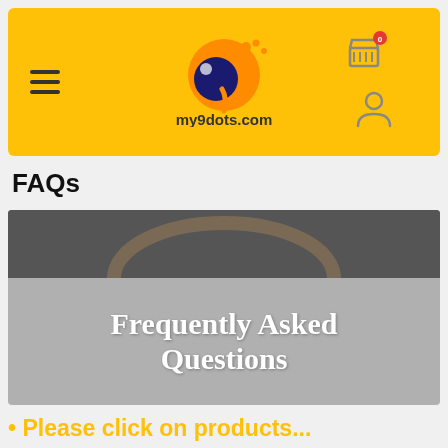[Figure (screenshot): my9dots.com website header with yellow background, hamburger menu icon on left, my9dots.com logo in center, shopping cart icon with badge '0' and user account icon on right]
FAQs
[Figure (photo): Banner image with dark gray background at top showing partial circular arc, and gray overlay with bold white text reading 'Frequently Asked Questions']
• Please click on products...